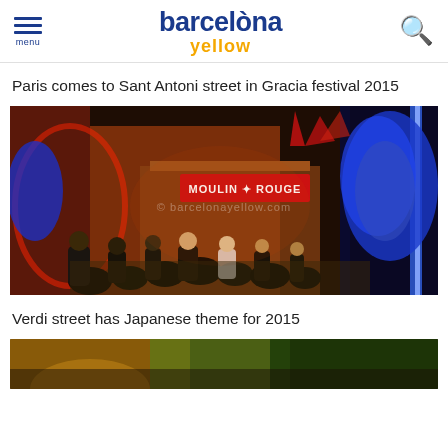barcelòna yellow — menu, search
Paris comes to Sant Antoni street in Gracia festival 2015
[Figure (photo): Night scene on Sant Antoni street decorated as Moulin Rouge, Paris theme, crowd of people in a narrow street with a red illuminated Moulin Rouge sign, blue feathered costume on right, red neon glow, watermark © barcelonayellow.com]
Verdi street has Japanese theme for 2015
[Figure (photo): Partial view of bottom of page showing beginning of a street scene photo with warm golden and green tones]